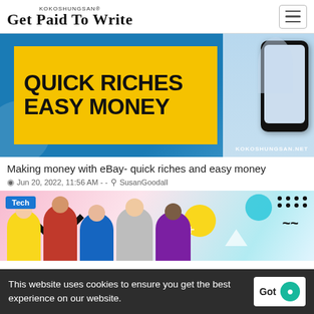KOKOSHUNGSAN® Get Paid To Write
[Figure (photo): Banner image with yellow block reading QUICK RICHES EASY MONEY on a blue background with a woman holding a phone, watermark KOKOSHUNGSAN.NET]
Making money with eBay- quick riches and easy money
Jun 20, 2022, 11:56 AM - - SusanGoodall
[Figure (photo): Colorful pop-art style image with five young people smiling, Tech badge in top left corner]
This website uses cookies to ensure you get the best experience on our website.